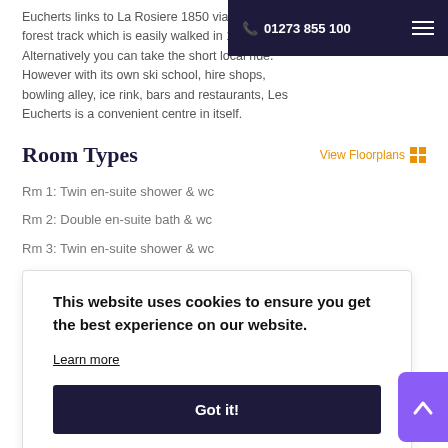01273 855 100
Eucherts links to La Rosiere 1850 via a pretty forest track which is easily walked in 15 minutes. Alternatively you can take the short local ride. However with its own ski school, hire shops, bowling alley, ice rink, bars and restaurants, Les Eucherts is a convenient centre in itself.
Room Types
View Floorplans
Rm 1: Twin en-suite shower & wc
Rm 2: Double en-suite bath & wc
Rm 3: Twin en-suite shower & wc
Rm 4: Twin en-suite shower & wc
This website uses cookies to ensure you get the best experience on our website.
Learn more
Got it!
Chalet Features